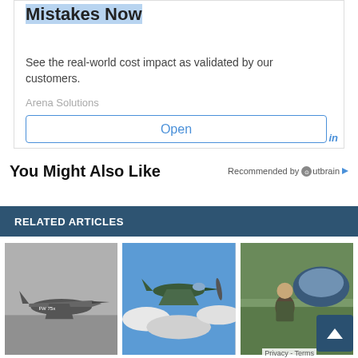[Figure (screenshot): Advertisement box for Arena Solutions showing 'Mistakes Now' headline with blue highlight, description text 'See the real-world cost impact as validated by our customers.', brand name 'Arena Solutions', and an 'Open' button with blue border.]
You Might Also Like
Recommended by Outbrain
RELATED ARTICLES
[Figure (photo): Black and white photo of a jet aircraft (F-86 or similar) on the ground]
[Figure (photo): Color photo of a propeller aircraft flying above clouds]
[Figure (photo): Color photo of a man in military gear standing next to an aircraft cockpit]